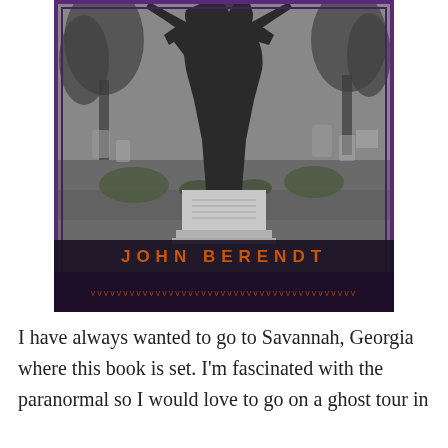[Figure (photo): Book cover of 'Midnight in the Garden of Good and Evil' by John Berendt. Black and white photograph of a cemetery statue on a pedestal, surrounded by gravestones and trees. The author name 'JOHN BERENDT' appears in bold orange spaced letters near the bottom of the cover. A decorative purple/dark border frames the image, with an ornamental pattern at the very bottom edge.]
I have always wanted to go to Savannah, Georgia where this book is set. I'm fascinated with the paranormal so I would love to go on a ghost tour in